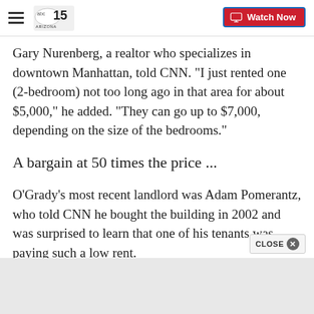ABC 15 Arizona | Watch Now
Gary Nurenberg, a realtor who specializes in downtown Manhattan, told CNN. "I just rented one (2-bedroom) not too long ago in that area for about $5,000," he added. "They can go up to $7,000, depending on the size of the bedrooms."
A bargain at 50 times the price ...
O'Grady's most recent landlord was Adam Pomerantz, who told CNN he bought the building in 2002 and was surprised to learn that one of his tenants was paying such a low rent.